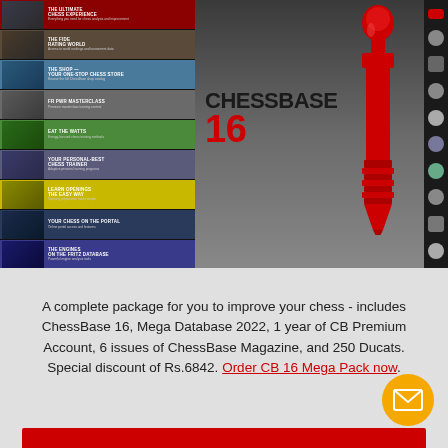[Figure (photo): ChessBase 16 product box cover showing a large red chess piece (rook/pin shape) on a dark gradient background with the text CHESSBASE 16, alongside a left panel of feature strips with thumbnails and a right side icon bar]
A complete package for you to improve your chess - includes ChessBase 16, Mega Database 2022, 1 year of CB Premium Account, 6 issues of ChessBase Magazine, and 250 Ducats. Special discount of Rs.6842. Order CB 16 Mega Pack now.